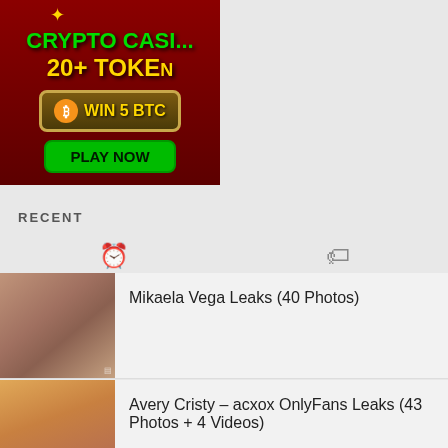[Figure (illustration): Crypto casino advertisement banner with dark red background, green text 'CRYPTO CASI...' and yellow '20+ TOKEN', a Bitcoin symbol, brown box with 'WIN 5 BTC', and green 'PLAY NOW' button]
RECENT
[Figure (other): Tab icons: clock icon (recent) and tag/label icon]
Mikaela Vega Leaks (40 Photos)
Avery Cristy – acxox OnlyFans Leaks (43 Photos + 4 Videos)